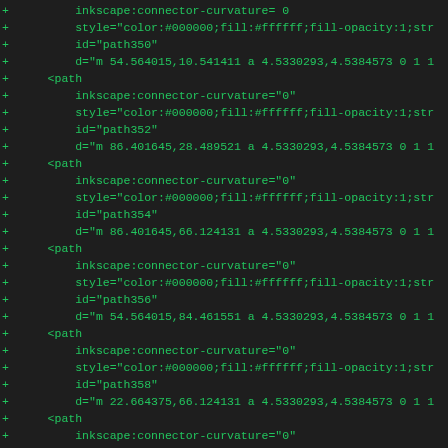diff/code listing showing SVG path elements with inkscape:connector-curvature, style, id, and d attributes for paths 350, 352, 354, 356, 358, 361, and 363